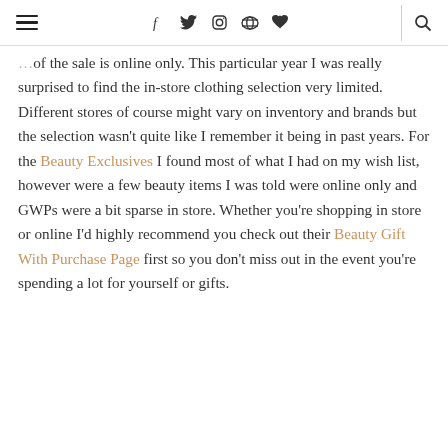≡  f  𝕥  ⊙  ⊕  ♥  |  🔍
of the sale is online only. This particular year I was really surprised to find the in-store clothing selection very limited. Different stores of course might vary on inventory and brands but the selection wasn't quite like I remember it being in past years. For the Beauty Exclusives I found most of what I had on my wish list, however were a few beauty items I was told were online only and GWPs were a bit sparse in store. Whether you're shopping in store or online I'd highly recommend you check out their Beauty Gift With Purchase Page first so you don't miss out in the event you're spending a lot for yourself or gifts.